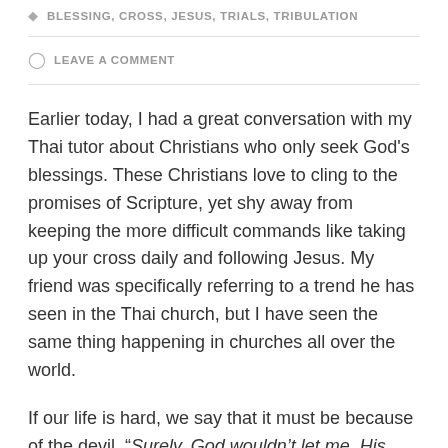BLESSING, CROSS, JESUS, TRIALS, TRIBULATION
LEAVE A COMMENT
Earlier today, I had a great conversation with my Thai tutor about Christians who only seek God's blessings. These Christians love to cling to the promises of Scripture, yet shy away from keeping the more difficult commands like taking up your cross daily and following Jesus. My friend was specifically referring to a trend he has seen in the Thai church, but I have seen the same thing happening in churches all over the world.
If our life is hard, we say that it must be because of the devil. “Surely, God wouldn’t let me, His child, go through these financial troubles. This has to be